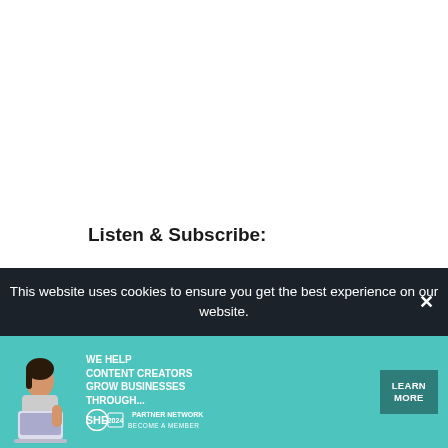Listen & Subscribe:
Apple Podcasts
Spotify
SoundCloud
Overcast
Stitcher
Google Play
SUPPORT the Ali on the Run Show! If you're
This website uses cookies to ensure you get the best experience on our website.
[Figure (infographic): SHE Media Partner Network advertisement banner: woman with laptop, text 'We Help Content Creators Grow Businesses Through...', SHE logo, LEARN MORE button]